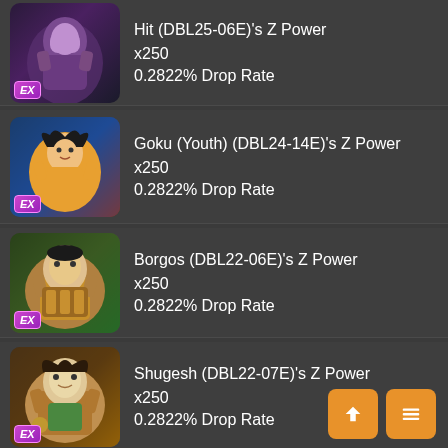Hit (DBL25-06E)'s Z Power x250 0.2822% Drop Rate
Goku (Youth) (DBL24-14E)'s Z Power x250 0.2822% Drop Rate
Borgos (DBL22-06E)'s Z Power x250 0.2822% Drop Rate
Shugesh (DBL22-07E)'s Z Power x250 0.2822% Drop Rate